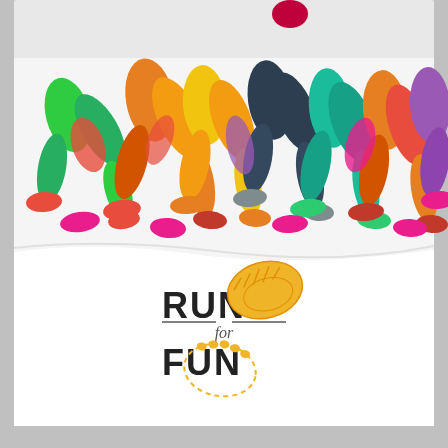[Figure (illustration): Colorful illustration of runners' legs in motion — silhouettes in green, orange, red, yellow, teal, pink, and purple overlapping dynamically. Below the runners is a white area with a 'Run for Fun' logo featuring yellow footprint graphics and stylized text.]